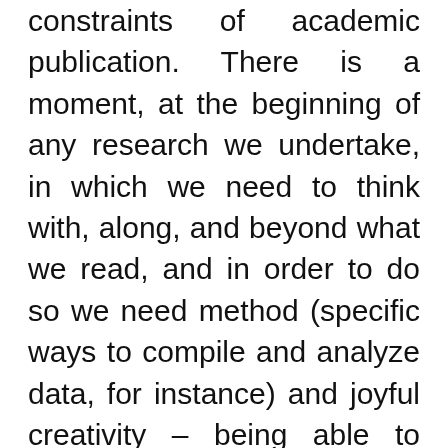constraints of academic publication. There is a moment, at the beginning of any research we undertake, in which we need to think with, along, and beyond what we read, and in order to do so we need method (specific ways to compile and analyze data, for instance) and joyful creativity – being able to break with style rules, working with new concepts and notions, inventing ideas that still don't have a name, or playing with objects, directionalities, positions that seem, to a certain degree, marginal or unexplored.